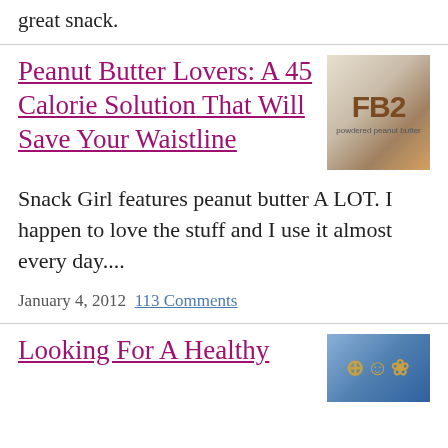great snack.
Peanut Butter Lovers: A 45 Calorie Solution That Will Save Your Waistline
[Figure (photo): Photo of FB2 powdered peanut butter jar]
Snack Girl features peanut butter A LOT. I happen to love the stuff and I use it almost every day....
January 4, 2012  113 Comments
Looking For A Healthy